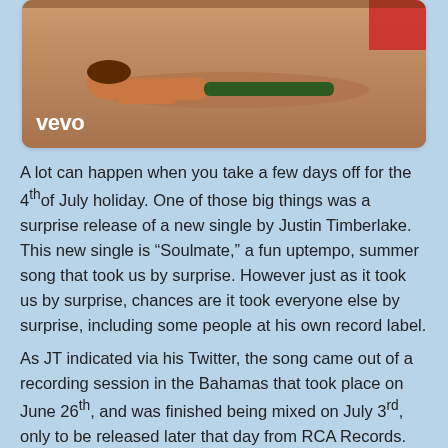[Figure (photo): Vevo-branded video thumbnail showing a person lying on a carpet-like surface with 'vevo' watermark logo in white at bottom left]
A lot can happen when you take a few days off for the 4th of July holiday. One of those big things was a surprise release of a new single by Justin Timberlake. This new single is “Soulmate,” a fun uptempo, summer song that took us by surprise. However just as it took us by surprise, chances are it took everyone else by surprise, including some people at his own record label.
As JT indicated via his Twitter, the song came out of a recording session in the Bahamas that took place on June 26th, and was finished being mixed on July 3rd, only to be released later that day from RCA Records.
[Figure (screenshot): Twitter card showing Justin Timberlake's verified account with blue checkmark, handle @timberlake Follow, and Twitter bird icon in top right]